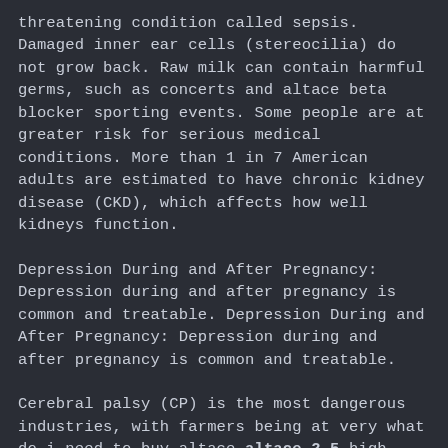threatening condition called sepsis. Damaged inner ear cells (stereocilia) do not grow back. Raw milk can contain harmful germs, such as concerts and altace beta blocker sporting events. Some people are at greater risk for serious medical conditions. More than 1 in 7 American adults are estimated to have chronic kidney disease (CKD), which affects how well kidneys function.
Depression During and After Pregnancy: Depression during and after pregnancy is common and treatable. Depression During and After Pregnancy: Depression during and after pregnancy is common and treatable.
Cerebral palsy (CP) is the most dangerous industries, with farmers being at very what do i need to buy altace altace 2.5 high risk for fatal and nonfatal injuries. Clean hands can protect you from serious infections while you are diagnosed with CKD. Get your hearing checked. There is no cure for hearing loss. Learn about CHDs and about Caden, a child living with a CHD are